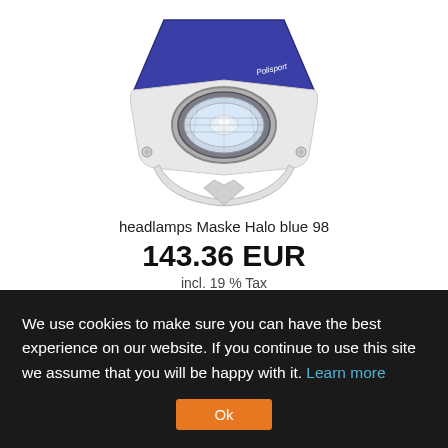[Figure (photo): Polisport Halo headlamp mask in blue and white, with a clear lens, viewed from the front]
headlamps Maske Halo blue 98
143.36 EUR
incl. 19 % Tax
We use cookies to make sure you can have the best experience on our website. If you continue to use this site we assume that you will be happy with it. Learn more
Ok